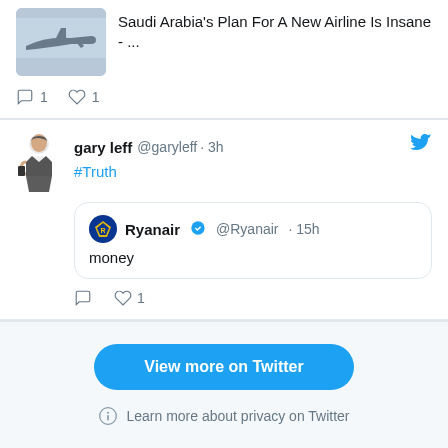[Figure (screenshot): Partial tweet showing an airplane image and article title 'Saudi Arabia's Plan For A New Airline Is Insane - ...' with 1 comment and 1 like]
[Figure (screenshot): Tweet by gary leff @garyleff 3h with hashtag #Truth, quoting Ryanair @Ryanair 15h with text 'money', with 0 comments and 1 like]
View more on Twitter
Learn more about privacy on Twitter
[Figure (screenshot): Partial ad area at bottom with close X button and blue text beginning to appear]